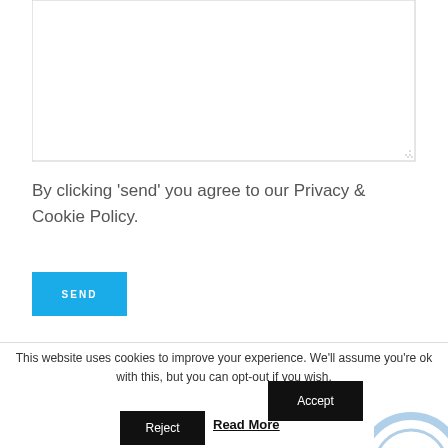[Figure (screenshot): Empty textarea input field with resize handle in bottom-right corner]
By clicking 'send' you agree to our Privacy & Cookie Policy.
[Figure (screenshot): Blue SEND button with white bold uppercase text]
This website uses cookies to improve your experience. We'll assume you're ok with this, but you can opt-out if you wish.
[Figure (screenshot): Black Accept button]
[Figure (screenshot): Black Reject button]
Read More